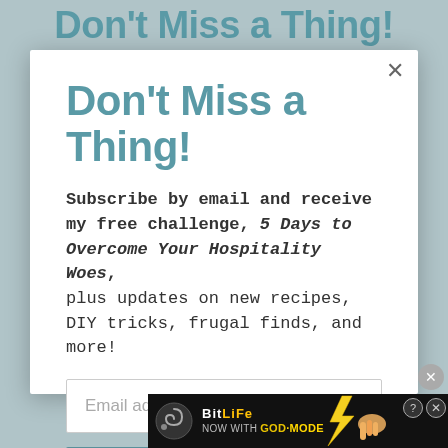Don't Miss a Thing!
Subscribe by email and receive my free challenge, 5 Days to Overcome Your Hospitality Woes, plus updates on new recipes, DIY tricks, frugal finds, and more!
[Figure (screenshot): Email address input field (empty, placeholder text 'Email address')]
[Figure (screenshot): SUBSCRIBE button in teal/grey-blue color]
[Figure (screenshot): BitLife advertisement banner at bottom: 'NOW WITH GOD MODE', with spiral logo, lightning bolt, pointing hand graphic, and close/info icons]